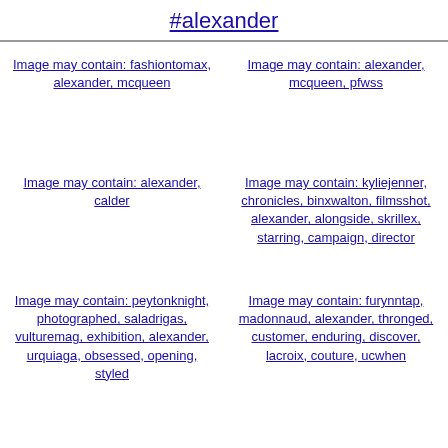#alexander
[Figure (photo): Image may contain: fashiontomax, alexander, mcqueen]
[Figure (photo): Image may contain: alexander, mcqueen, pfwss]
[Figure (photo): Image may contain: alexander, calder]
[Figure (photo): Image may contain: kyliejenner, chronicles, binxwalton, filmsshot, alexander, alongside, skrillex, starring, campaign, director]
[Figure (photo): Image may contain: peytonknight, photographed, saladrigas, vulturemag, exhibition, alexander, urquiaga, obsessed, opening, styled]
[Figure (photo): Image may contain: furynntap, madonnaud, alexander, thronged, customer, enduring, discover, lacroix, couture, ucwhen]